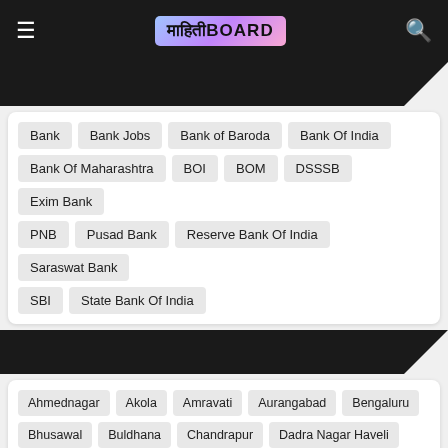माहिती BOARD
Bank
Bank Jobs
Bank of Baroda
Bank Of India
Bank Of Maharashtra
BOI
BOM
DSSSB
Exim Bank
PNB
Pusad Bank
Reserve Bank Of India
Saraswat Bank
SBI
State Bank Of India
Ahmednagar
Akola
Amravati
Aurangabad
Bengaluru
Bhusawal
Buldhana
Chandrapur
Dadra Nagar Haveli
Delhi
Dhule
Dombivali
Gadchiroli
Goa
Gondia
Guwahati
India
Jalgaon
Jalna
Jammu and Kashmir
Kerala
Kolhapur
Kolkata
Latur
Maharashtra